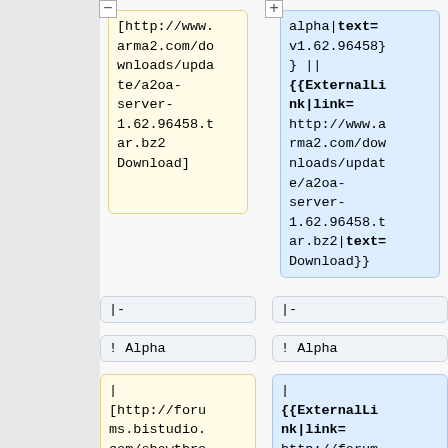[http://www.arma2.com/downloads/update/a2oa-server-1.62.96458.tar.bz2 Download]
alpha|text=v1.62.96458}} || {{ExternalLink|link=http://www.arma2.com/downloads/update/a2oa-server-1.62.96458.tar.bz2|text=Download}}
|-
|-
! Alpha
! Alpha
| [http://forums.bistudio.com/showthread.php?
| {{ExternalLink|link= http://forums.bistudio.c